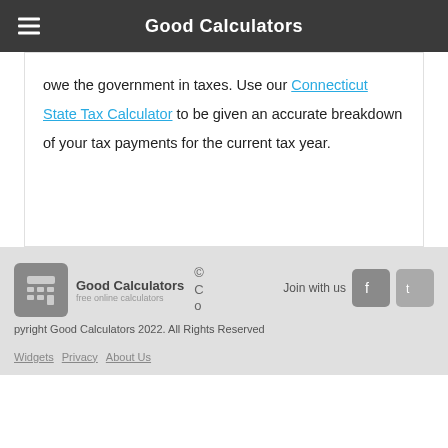Good Calculators
owe the government in taxes. Use our Connecticut State Tax Calculator to be given an accurate breakdown of your tax payments for the current tax year.
© Copyright Good Calculators 2022. All Rights Reserved
Widgets Privacy About Us
Join with us [Facebook] [Twitter]